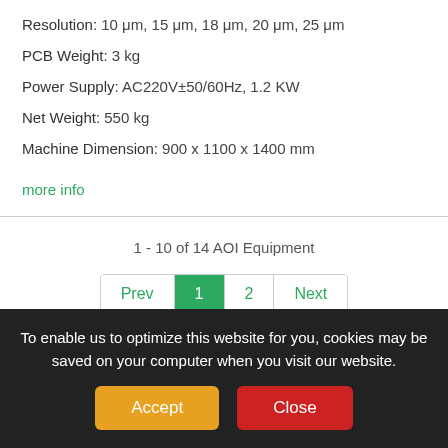Resolution:  10 μm, 15 μm, 18 μm, 20 μm, 25 μm
PCB Weight:  3 kg
Power Supply:  AC220V±50/60Hz, 1.2 KW
Net Weight:  550 kg
Machine Dimension:  900 x 1100 x 1400 mm
more info
1 - 10 of 14 AOI Equipment
Prev  1  2  Next
Filters
To enable us to optimize this website for you, cookies may be saved on your computer when you visit our website.
Accept  Close